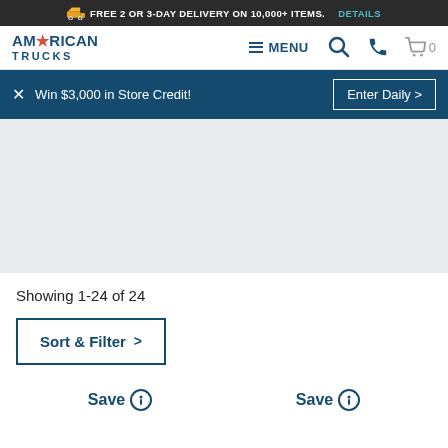FREE 2 OR 3-DAY DELIVERY ON 10,000+ ITEMS. DETAILS
AMERICAN TRUCKS — MENU, Search, Phone, Cart (0)
Win $3,000 in Store Credit! Enter Daily >
[Figure (other): Large banner/hero image area (light gray placeholder)]
Showing 1-24 of 24
Sort & Filter >
Save  Save